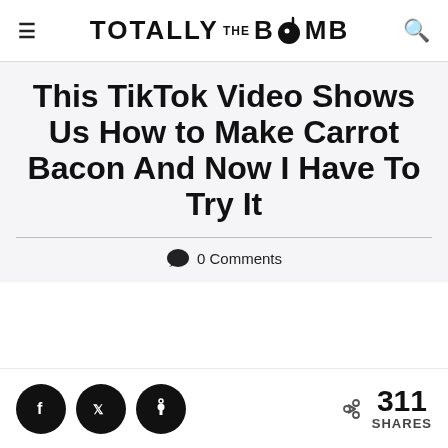TOTALLY THE BOMB
This TikTok Video Shows Us How to Make Carrot Bacon And Now I Have To Try It
0 Comments
[Figure (other): Social share buttons: Facebook, Twitter, Pinterest icons and 311 SHARES count]